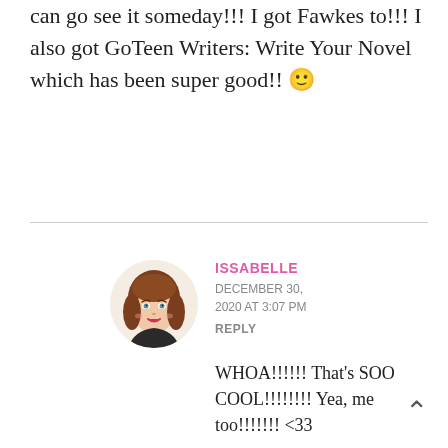can go see it someday!!! I got Fawkes to!!! I also got GoTeen Writers: Write Your Novel which has been super good!! 🙂
[Figure (illustration): Circular avatar illustration of a young woman with brown wavy hair, blue-green eyes, and red lips on a light background]
ISSABELLE
DECEMBER 30, 2020 AT 3:07 PM
REPLY
WHOA!!!!!! That's SOO COOL!!!!!!!! Yea, me too!!!!!!! <33